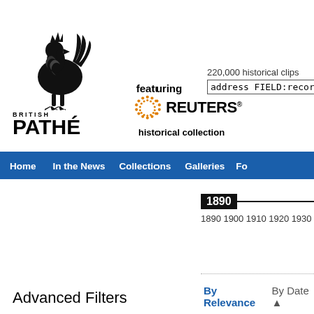[Figure (logo): British Pathé rooster logo with 'BRITISH PATHÉ' text]
featuring
[Figure (logo): Reuters logo with dotted circle and 'REUTERS' text]
historical collection
220,000 historical clips
address FIELD:record_ke
Home  In the News  Collections  Galleries  Fo
1890
1890  1900  1910  1920  1930
Advanced Filters
By Relevance  By Date ▲